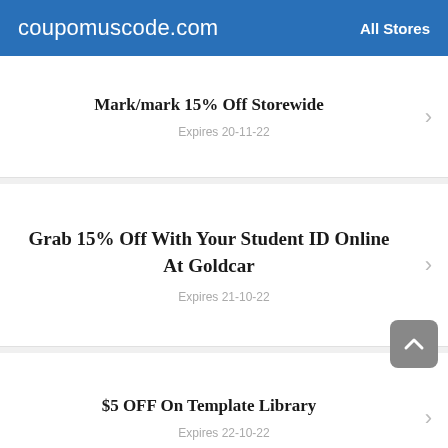coupomuscode.com   All Stores
Mark/mark 15% Off Storewide
Expires 20-11-22
Grab 15% Off With Your Student ID Online At Goldcar
Expires 21-10-22
$5 OFF On Template Library
Expires 22-10-22